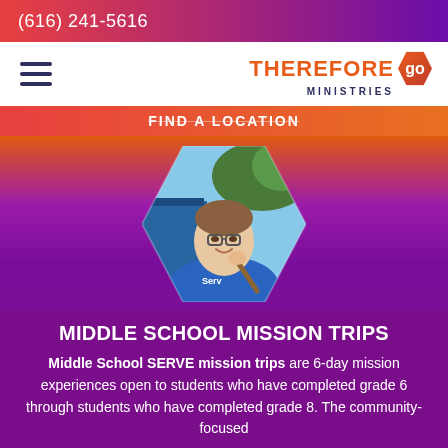(616) 241-5616
[Figure (logo): Therefore Go Ministries logo with hamburger menu icon]
FIND A LOCATION
[Figure (photo): Young boy in blue shirt with glasses and broom, doing community service work near blue bins, shown in hexagonal frame]
MIDDLE SCHOOL MISSION TRIPS
Middle School SERVE mission trips are 6-day mission experiences open to students who have completed grade 6 through students who have completed grade 8. The community-focused